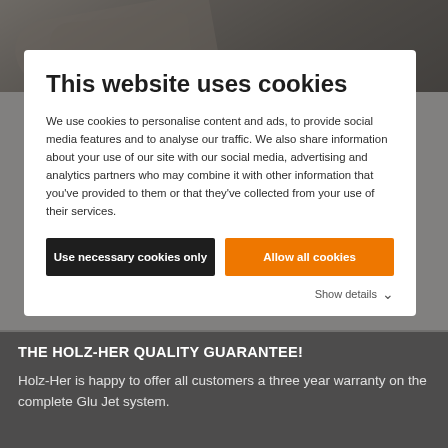[Figure (photo): Background photo of a person's hand/fingers, partially obscured by a dark gray overlay and a cookie consent modal dialog]
This website uses cookies
We use cookies to personalise content and ads, to provide social media features and to analyse our traffic. We also share information about your use of our site with our social media, advertising and analytics partners who may combine it with other information that you've provided to them or that they've collected from your use of their services.
Use necessary cookies only
Allow all cookies
Show details
THE HOLZ-HER QUALITY GUARANTEE!
Holz-Her is happy to offer all customers a three year warranty on the complete Glu Jet system.